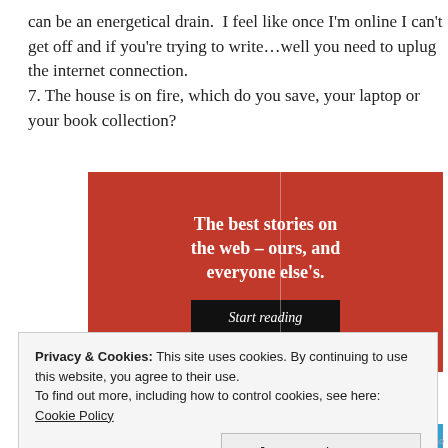can be an energetical drain. I feel like once I'm online I can't get off and if you're trying to write…well you need to uplug the internet connection.
7. The house is on fire, which do you save, your laptop or your book collection?
[Figure (infographic): Red banner advertisement reading 'The best stories on the web – ours, and everyone else's.' with a black 'Start reading' button]
Privacy & Cookies: This site uses cookies. By continuing to use this website, you agree to their use.
To find out more, including how to control cookies, see here: Cookie Policy
Close and accept